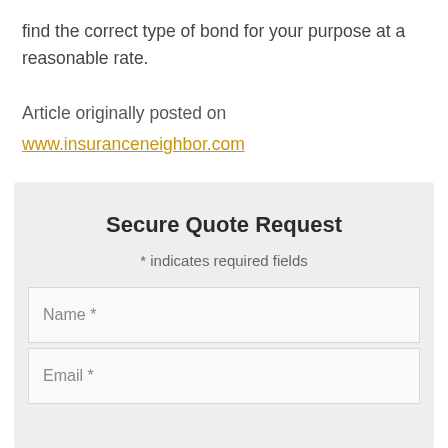find the correct type of bond for your purpose at a reasonable rate.
Article originally posted on www.insuranceneighbor.com
Secure Quote Request
* indicates required fields
Name *
Email *